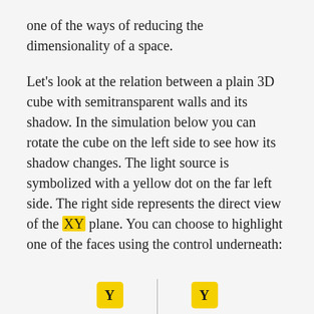one of the ways of reducing the dimensionality of a space.
Let's look at the relation between a plain 3D cube with semitransparent walls and its shadow. In the simulation below you can rotate the cube on the left side to see how its shadow changes. The light source is symbolized with a yellow dot on the far left side. The right side represents the direct view of the XY plane. You can choose to highlight one of the faces using the control underneath:
[Figure (other): Two yellow badge buttons labeled Y with a vertical divider line between them, shown at the bottom of the page as UI controls.]